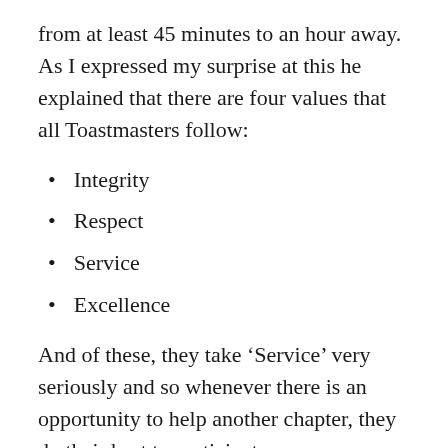from at least 45 minutes to an hour away. As I expressed my surprise at this he explained that there are four values that all Toastmasters follow:
Integrity
Respect
Service
Excellence
And of these, they take ‘Service’ very seriously and so whenever there is an opportunity to help another chapter, they do their best to participate.